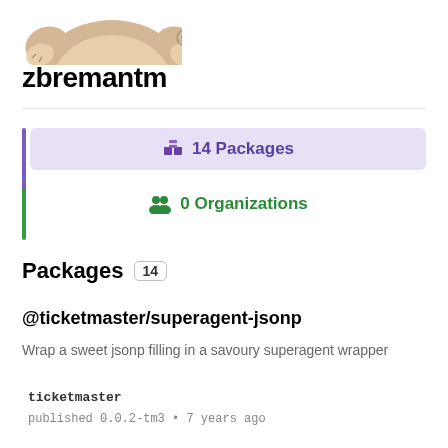[Figure (illustration): Partial view of a cartoon mascot (npm wombat) illustration, cropped at top]
zbremantm
[Figure (infographic): Navigation tabs showing 14 Packages (highlighted in purple) and 0 Organizations with left accent bar]
Packages 14
@ticketmaster/superagent-jsonp
Wrap a sweet jsonp filling in a savoury superagent wrapper
ticketmaster
published 0.0.2-tm3 • 7 years ago